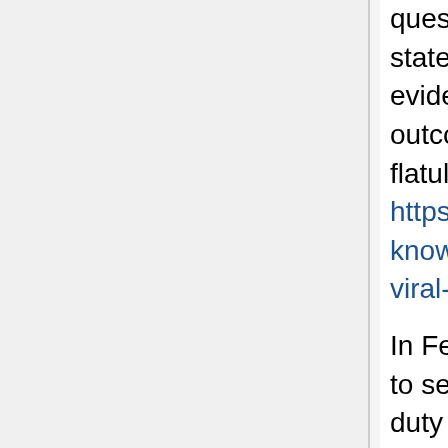question about Attorney General William Barr's statement that federal prosecutors had not found evidence of election fraud that would influence the outcome. During the clip, what sounds like flatulence can be heard as he's speaking. https://thehill.com/blogs/in-the-know/in-the-know/528666-michigan-voter-fraud-hearing-goes-viral-for-alleged-flatulence 🔒
In February, 2021, a man goes to the White House to see Donald Trump. He is told by the Marine on duty that Trump is no longer president and that he no longer resides there. Three days in a row the man returns to see Trump and each time the same Marine tells him Trump is no longer president. On the fourth day, the Marine finally asks the man why he keeps coming back asking for Trump when he already knows the answer. The man replies, "I just love hearing you tell me Trump is no longer the president." The Marine snaps to attention, salutes and says, "See you tomorrow, sir!"
Biden chief of staff says inauguration 'not going